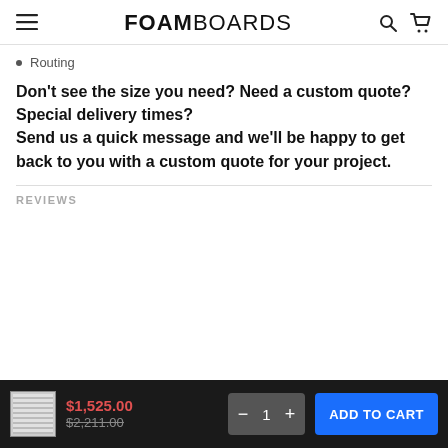FOAMBOARDS
Routing
Don't see the size you need? Need a custom quote? Special delivery times? Send us a quick message and we'll be happy to get back to you with a custom quote for your project.
REVIEWS
$1,525.00  $2,211.00  1  ADD TO CART